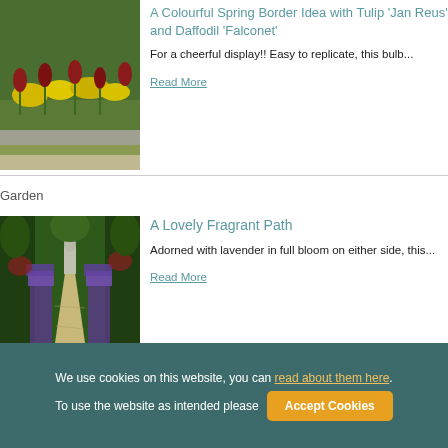A Colourful Spring Border Idea with Tulip 'Jan Reus' and Daffodil 'Falconet'
For a cheerful display!! Easy to replicate, this bulb...
Read More
Garden
A Lovely Fragrant Path
Adorned with lavender in full bloom on either side, this...
Read More
We use cookies on this website, you can read about them here. To use the website as intended please
Accept Cookies